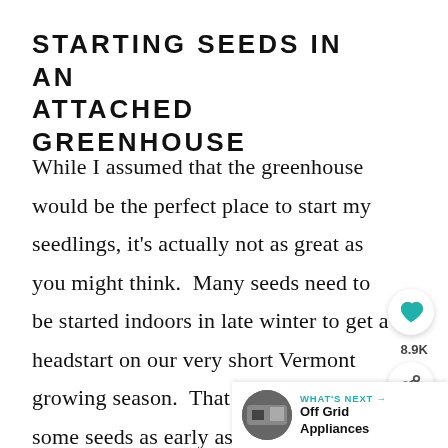STARTING SEEDS IN AN ATTACHED GREENHOUSE
While I assumed that the greenhouse would be the perfect place to start my seedlings, it's actually not as great as you might think.  Many seeds need to be started indoors in late winter to get a headstart on our very short Vermont growing season.  That means starting some seeds as early as Februar...